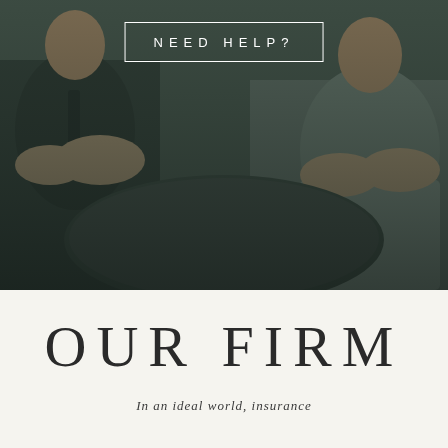[Figure (photo): Background photo of two people sitting and consulting, overlaid with dark green tint. A white-bordered box with 'NEED HELP?' text is centered near the top of the image.]
OUR FIRM
In an ideal world, insurance